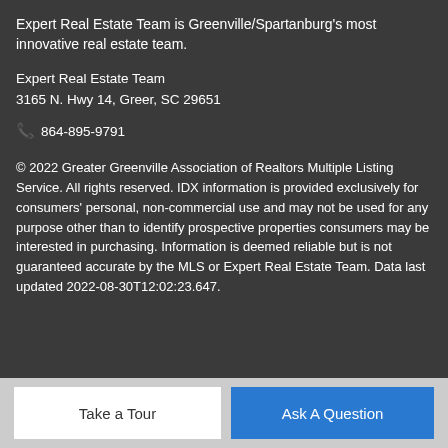Expert Real Estate Team is Greenville/Spartanburg's most innovative real estate team.
Expert Real Estate Team
3165 N. Hwy 14, Greer, SC 29651
📞 864-895-9791
© 2022 Greater Greenville Association of Realtors Multiple Listing Service. All rights reserved. IDX information is provided exclusively for consumers' personal, non-commercial use and may not be used for any purpose other than to identify prospective properties consumers may be interested in purchasing. Information is deemed reliable but is not guaranteed accurate by the MLS or Expert Real Estate Team. Data last updated 2022-08-30T12:02:23.647.
Take a Tour
Ask A Question